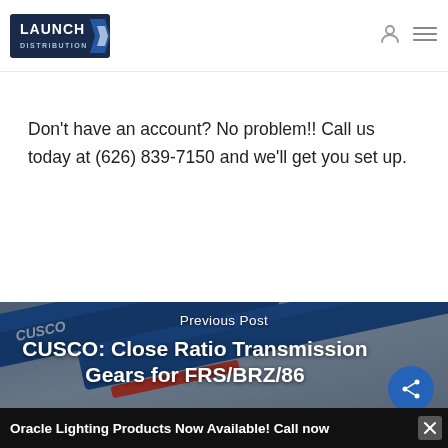[Figure (logo): Launch Distribution logo — white/blue text with shield/arrow graphic]
Don't have an account? No problem!! Call us today at (626) 839-7150 and we'll get you set up.
[Figure (photo): Photo of blue CUSCO close ratio transmission parts/bars with a red element, serving as background for a blog post preview card]
Previous Post
CUSCO: Close Ratio Transmission Gears for FRS/BRZ/86
Oracle Lighting Products Now Available! Call now